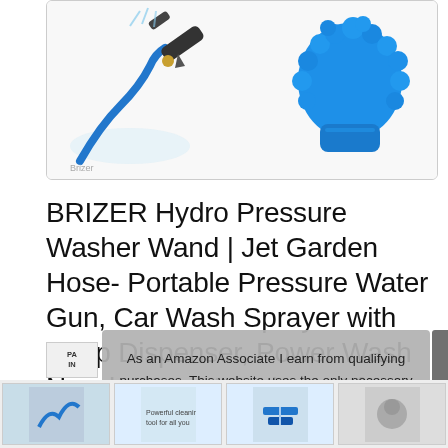[Figure (photo): Product image box showing two items: left side shows a blue pressure washer wand/gun with hose attachment, right side shows a blue chenille/microfiber wash mitt or brush]
BRIZER Hydro Pressure Washer Wand | Jet Garden Hose- Portable Pressure Water Gun, Car Wash Sprayer with Soap Dispenser, Power Wash Nozzle Hose Attachment for Car Wash
As an Amazon Associate I earn from qualifying purchases. This website uses the only necessary cookies to ensure you get the best experience on our website. More information
#ad
[Figure (photo): Bottom thumbnail strip showing partial product images]
PA IN